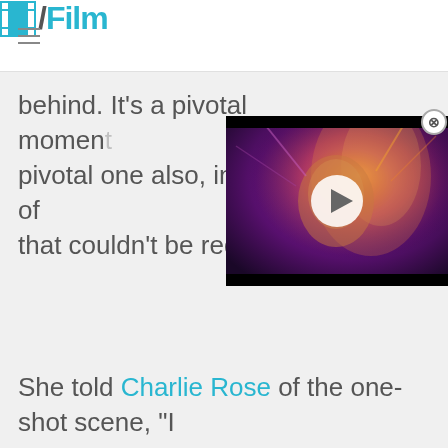/Film
behind. It's a pivotal moment pivotal one also, in terms of that couldn't be redone.
[Figure (screenshot): Video player thumbnail showing a glowing female character (Captain Marvel) with colorful light effects, with a white circular play button overlay]
She told Charlie Rose of the one-shot scene, "I